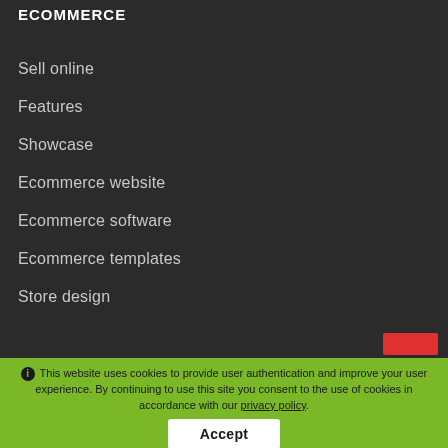ECOMMERCE
Sell online
Features
Showcase
Ecommerce website
Ecommerce software
Ecommerce templates
Store design
This website uses cookies to provide user authentication and improve your user experience. By continuing to use this site you consent to the use of cookies in accordance with our privacy policy.
Accept